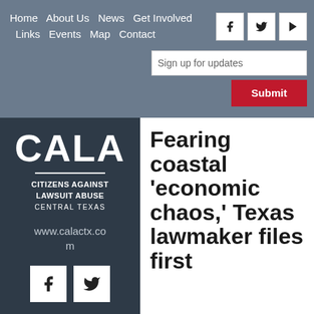Home  About Us  News  Get Involved  Links  Events  Map  Contact
[Figure (logo): CALA Citizens Against Lawsuit Abuse Central Texas logo and website www.calactx.com]
Fearing coastal 'economic chaos,' Texas lawmaker files first